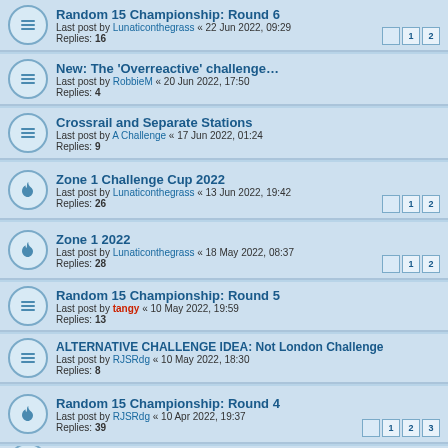Random 15 Championship: Round 6 | Last post by Lunaticonthegrass « 22 Jun 2022, 09:29 | Replies: 16
New: The 'Overreactive' challenge… | Last post by RobbieM « 20 Jun 2022, 17:50 | Replies: 4
Crossrail and Separate Stations | Last post by A Challenge « 17 Jun 2022, 01:24 | Replies: 9
Zone 1 Challenge Cup 2022 | Last post by Lunaticonthegrass « 13 Jun 2022, 19:42 | Replies: 26
Zone 1 2022 | Last post by Lunaticonthegrass « 18 May 2022, 08:37 | Replies: 28
Random 15 Championship: Round 5 | Last post by tangy « 10 May 2022, 19:59 | Replies: 13
ALTERNATIVE CHALLENGE IDEA: Not London Challenge | Last post by RJSRdg « 10 May 2022, 18:30 | Replies: 8
Random 15 Championship: Round 4 | Last post by RJSRdg « 10 Apr 2022, 19:37 | Replies: 39
Random 15 Championship re-start | Last post by tangy « 21 Feb 2022, 18:58